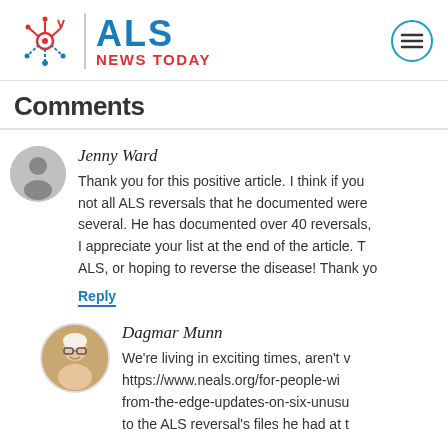[Figure (logo): ALS News Today logo with stylized neuron icon on left, 'ALS' in blue bold text, 'NEWS TODAY' in red bold text below, and a hamburger menu circle button on the right]
Comments
Jenny Ward
Thank you for this positive article. I think if you not all ALS reversals that he documented were several. He has documented over 40 reversals, I appreciate your list at the end of the article. T ALS, or hoping to reverse the disease! Thank yo
Reply
Dagmar Munn
We're living in exciting times, aren't v https://www.neals.org/for-people-wi from-the-edge-updates-on-six-unusu to the ALS reversal's files he had at t